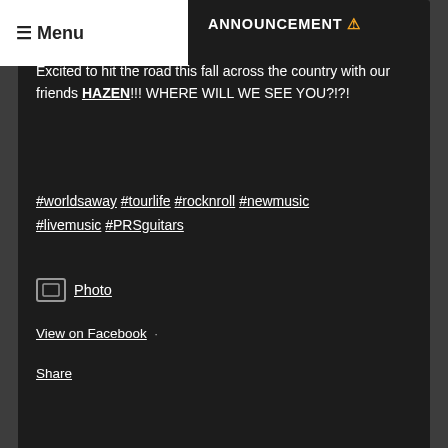≡ Menu
ANNOUNCEMENT ⚠
Excited to hit the road this fall across the country with our friends HAZEN!!! WHERE WILL WE SEE YOU?!?! #worldsaway #tourlife #rocknroll #newmusic #livemusic #PRSguitars
📷 Photo
View on Facebook ·
Share
Falling Through April
4 weeks ago
Excited to announce the first of many shows we are